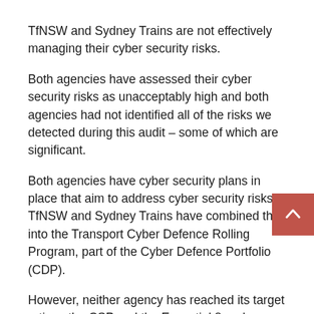TfNSW and Sydney Trains are not effectively managing their cyber security risks.
Both agencies have assessed their cyber security risks as unacceptably high and both agencies had not identified all of the risks we detected during this audit – some of which are significant.
Both agencies have cyber security plans in place that aim to address cyber security risks. TfNSW and Sydney Trains have combined this into the Transport Cyber Defence Rolling Program, part of the Cyber Defence Portfolio (CDP).
However, neither agency has reached its target ratings the CSP and the Essential 8 and maturity is low in rela to significant risks and vulnerabilities exposed.
Further, neither agency is fostering a culture where cyber security risk management is an important and valued...